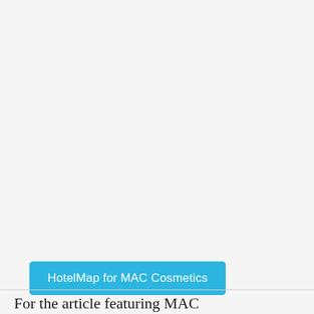[Figure (other): Large blank/empty image area occupying most of the upper portion of the page with a light gray background.]
HotelMap for MAC Cosmetics
For the article featuring MAC